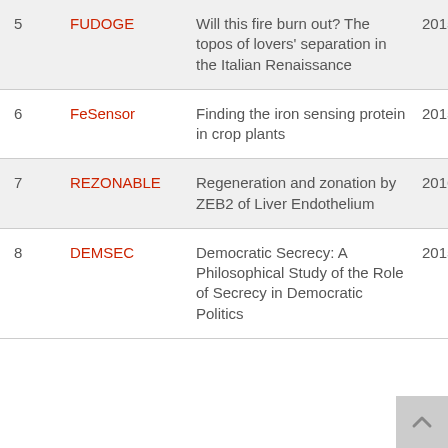| # | Acronym | Title | Year |
| --- | --- | --- | --- |
| 5 | FUDOGE | Will this fire burn out? The topos of lovers' separation in the Italian Renaissance | 2015 |
| 6 | FeSensor | Finding the iron sensing protein in crop plants | 2015 |
| 7 | REZONABLE | Regeneration and zonation by ZEB2 of Liver Endothelium | 2016 |
| 8 | DEMSEC | Democratic Secrecy: A Philosophical Study of the Role of Secrecy in Democratic Politics | 2015 |